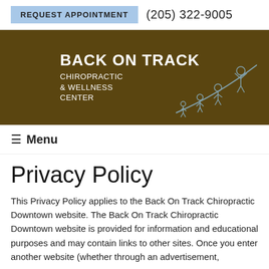REQUEST APPOINTMENT   (205) 322-9005
[Figure (logo): Back On Track Chiropractic & Wellness Center logo with illustrated figures on a dark brown background]
☰ Menu
Privacy Policy
This Privacy Policy applies to the Back On Track Chiropractic Downtown website. The Back On Track Chiropractic Downtown website is provided for information and educational purposes and may contain links to other sites. Once you enter another website (whether through an advertisement,